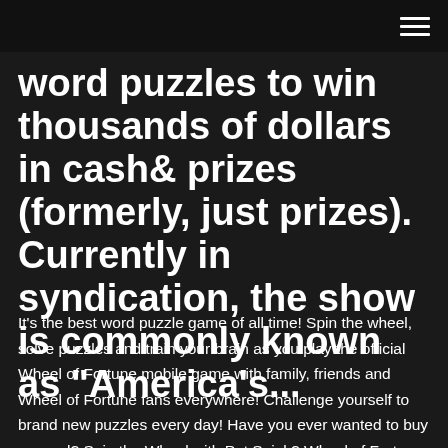word puzzles to win thousands of dollars in cash& prizes (formerly, just prizes). Currently in syndication, the show is commonly known as "America's...
It's the best word puzzle game of all time! Spin the wheel, solve puzzles and train your brain as you play the official Wheel of Fortune mobile game with family, friends and Wheel of Fortune fans everywhere! Challenge yourself to brand new puzzles every day! Have you ever wanted to buy a vowel? Spin the Wheel with Pat Sajak? Wheel of Fortune (UK game show) - Wikipedia Wheel of Fortune was a British television game show based on the American show of the